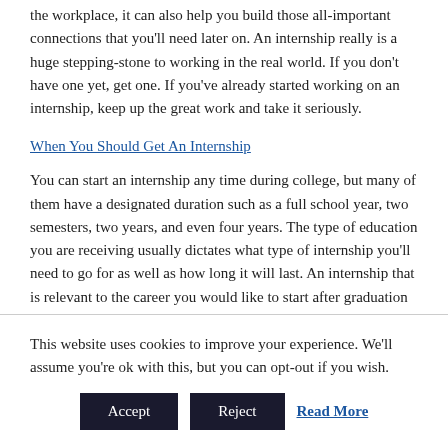the workplace, it can also help you build those all-important connections that you'll need later on. An internship really is a huge stepping-stone to working in the real world. If you don't have one yet, get one. If you've already started working on an internship, keep up the great work and take it seriously.
When You Should Get An Internship
You can start an internship any time during college, but many of them have a designated duration such as a full school year, two semesters, two years, and even four years. The type of education you are receiving usually dictates what type of internship you'll need to go for as well as how long it will last. An internship that is relevant to the career you would like to start after graduation is always a good thing, regardless of when you have it. The longer you are able to hold down and internship or co-op the better, as this can be a great
This website uses cookies to improve your experience. We'll assume you're ok with this, but you can opt-out if you wish.
Accept   Reject   Read More